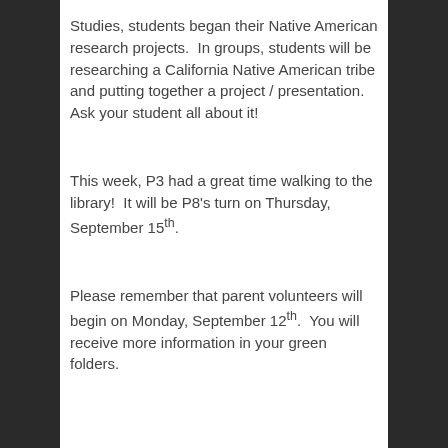Studies, students began their Native American research projects.  In groups, students will be researching a California Native American tribe and putting together a project / presentation.  Ask your student all about it!
This week, P3 had a great time walking to the library!  It will be P8's turn on Thursday, September 15th.
Please remember that parent volunteers will begin on Monday, September 12th.  You will receive more information in your green folders.